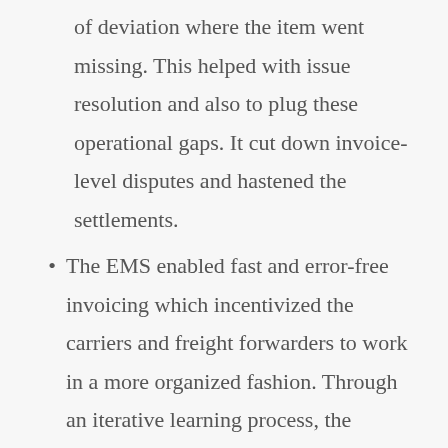of deviation where the item went missing. This helped with issue resolution and also to plug these operational gaps. It cut down invoice-level disputes and hastened the settlements.
The EMS enabled fast and error-free invoicing which incentivized the carriers and freight forwarders to work in a more organized fashion. Through an iterative learning process, the system improved upon itself. It brought a higher degree of